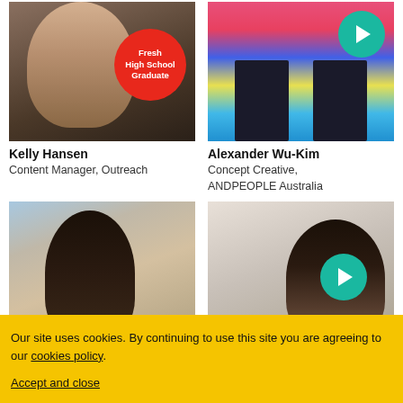[Figure (photo): Photo of Kelly Hansen, a smiling woman with blonde hair wearing a black top and necklace, with a red circular badge reading 'Fresh High School Graduate']
Kelly Hansen
Content Manager, Outreach
[Figure (photo): Photo of Alexander Wu-Kim standing on colorful steps/bleachers, with a teal play button overlay in the top right]
Alexander Wu-Kim
Concept Creative, ANDPEOPLE Australia
[Figure (photo): Photo of a woman with dark hair looking sideways, against a light background with wooden frames]
[Figure (photo): Photo of a woman with dark hair smiling, with a teal play button overlay]
Our site uses cookies. By continuing to use this site you are agreeing to our cookies policy.
Accept and close